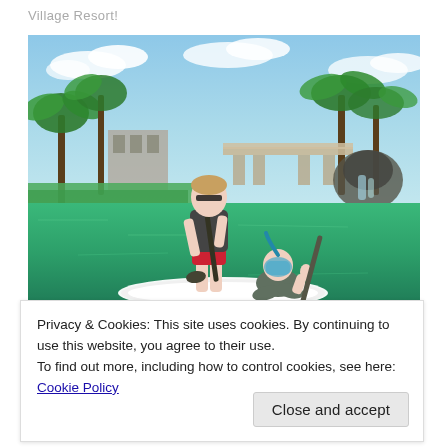Village Resort!
[Figure (photo): Woman standing on a paddleboard holding a paddle in a tropical resort lagoon, with a child sitting cross-legged on the board wearing snorkel mask and giving thumbs up. Palm trees, a bridge, and a waterfall visible in the background.]
Privacy & Cookies: This site uses cookies. By continuing to use this website, you agree to their use.
To find out more, including how to control cookies, see here: Cookie Policy
Close and accept